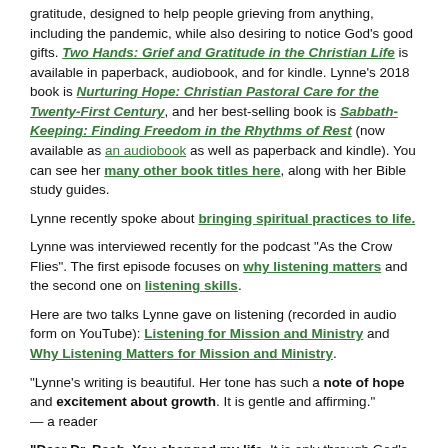gratitude, designed to help people grieving from anything, including the pandemic, while also desiring to notice God's good gifts. Two Hands: Grief and Gratitude in the Christian Life is available in paperback, audiobook, and for kindle. Lynne's 2018 book is Nurturing Hope: Christian Pastoral Care for the Twenty-First Century, and her best-selling book is Sabbath-Keeping: Finding Freedom in the Rhythms of Rest (now available as an audiobook as well as paperback and kindle). You can see her many other book titles here, along with her Bible study guides.
Lynne recently spoke about bringing spiritual practices to life.
Lynne was interviewed recently for the podcast "As the Crow Flies". The first episode focuses on why listening matters and the second one on listening skills.
Here are two talks Lynne gave on listening (recorded in audio form on YouTube): Listening for Mission and Ministry and Why Listening Matters for Mission and Ministry.
"Lynne's writing is beautiful. Her tone has such a note of hope and excitement about growth. It is gentle and affirming." — a reader
"Dear Dr. Baab, You changed my life. It is only through God's gift of the sabbath that I feel in my heart and soul that God loves me apart